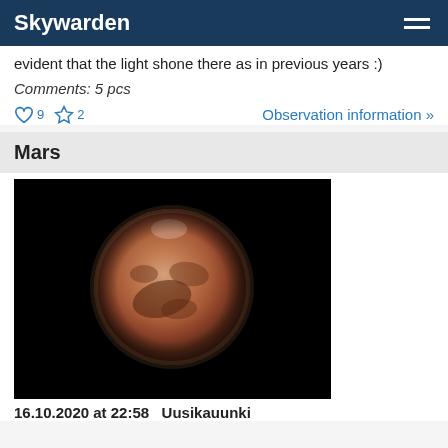Skywarden
evident that the light shone there as in previous years :)
Comments: 5 pcs
Observation information »
Mars
[Figure (photo): Telescopic photograph of Mars against a black sky background, showing the reddish-orange disc of the planet with surface features visible]
16.10.2020 at 22:58   Uusikauunki